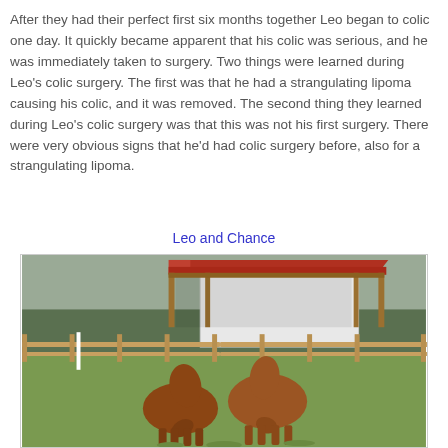After they had their perfect first six months together Leo began to colic one day. It quickly became apparent that his colic was serious, and he was immediately taken to surgery. Two things were learned during Leo's colic surgery. The first was that he had a strangulating lipoma causing his colic, and it was removed. The second thing they learned during Leo's colic surgery was that this was not his first surgery. There were very obvious signs that he'd had colic surgery before, also for a strangulating lipoma.
Leo and Chance
[Figure (photo): Two chestnut horses grazing together in a green pasture with a white barn with a red roof and wooden rail fencing in the background.]